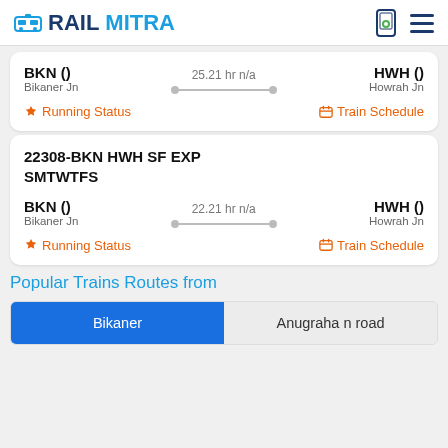RAILMITRA
BKN () 25.21 hr n/a HWH () Bikaner Jn Howrah Jn
Running Status  Train Schedule
22308-BKN HWH SF EXP SMTWTFS
BKN () 22.21 hr n/a HWH () Bikaner Jn Howrah Jn
Running Status  Train Schedule
Popular Trains Routes from
Bikaner  Anugraha n road